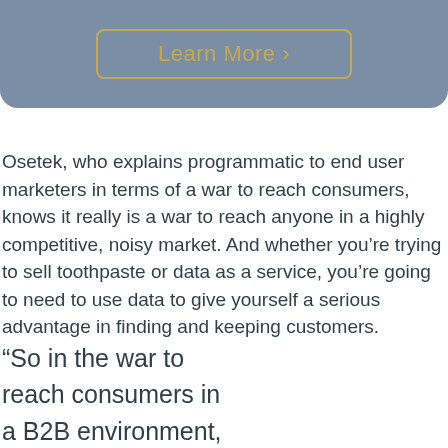[Figure (other): Gray rounded banner header with a gold-bordered 'Learn More' button]
Osetek, who explains programmatic to end user marketers in terms of a war to reach consumers, knows it really is a war to reach anyone in a highly competitive, noisy market. And whether you're trying to sell toothpaste or data as a service, you're going to need to use data to give yourself a serious advantage in finding and keeping customers.
“So in the war to reach consumers in a B2B environment, we use the analogy